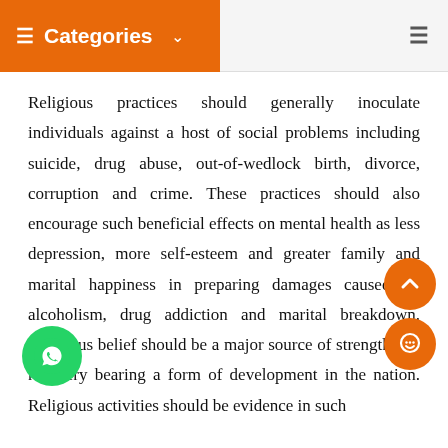Categories
Religious practices should generally inoculate individuals against a host of social problems including suicide, drug abuse, out-of-wedlock birth, divorce, corruption and crime. These practices should also encourage such beneficial effects on mental health as less depression, more self-esteem and greater family and marital happiness in preparing damages caused by alcoholism, drug addiction and marital breakdown. Religious belief should be a major source of strength and recovery bearing a form of development in the nation. Religious activities should be evidence in such